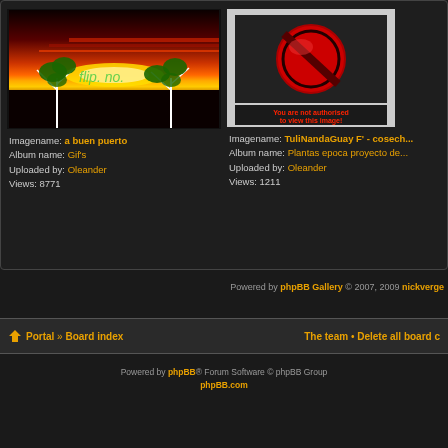[Figure (screenshot): Gallery panel showing two images. Left: sunset with trees photo titled 'a buen puerto'. Right: not-authorized red circle icon.]
Imagename: a buen puerto
Album name: Gif's
Uploaded by: Oleander
Views: 8771
Imagename: TuliNandaGuay F' - cosech...
Album name: Plantas epoca proyecto de...
Uploaded by: Oleander
Views: 1211
Powered by phpBB Gallery © 2007, 2009 nickverge
Portal » Board index | The team • Delete all board c
Powered by phpBB® Forum Software © phpBB Group phpBB.com